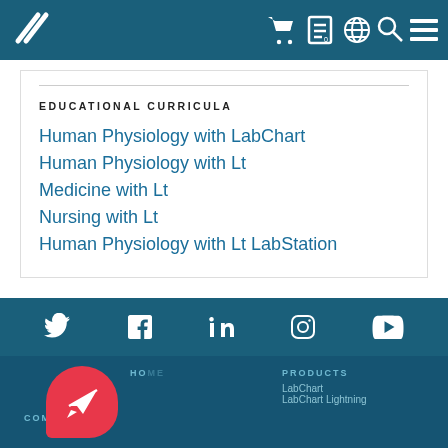ADInstruments navigation bar with logo and icons
EDUCATIONAL CURRICULA
Human Physiology with LabChart
Human Physiology with Lt
Medicine with Lt
Nursing with Lt
Human Physiology with Lt LabStation
Social media icons: Twitter, Facebook, LinkedIn, Instagram, YouTube
COMPANY
PRODUCTS
LabChart
LabChart Lightning